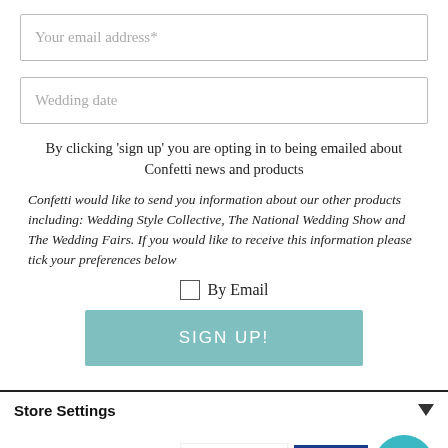Your email address*
Wedding date
By clicking 'sign up' you are opting in to being emailed about Confetti news and products
Confetti would like to send you information about our other products including: Wedding Style Collective, The National Wedding Show and The Wedding Fairs. If you would like to receive this information please tick your preferences below
By Email
SIGN UP!
Store Settings
[Figure (logo): Secure 128 Bit Encryption badge with padlock icon]
[Figure (logo): Visa payment card logo with blue and gold stripe]
[Figure (other): Teal chat bubble icon with speech bubble symbol]